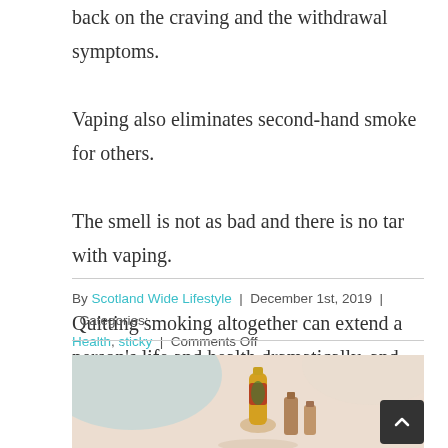back on the craving and the withdrawal symptoms.

Vaping also eliminates second-hand smoke for others.

The smell is not as bad and there is no tar with vaping.

Quitting smoking altogether can extend a person's life and health dramatically, and the body can heal itself the way it should.
By Scotland Wide Lifestyle | December 1st, 2019 | Categories: Health, sticky | Comments Off
[Figure (photo): A decorative bottle or ornament with red and gold design, surrounded by small brown bottles, on a light background with soft blue tones.]